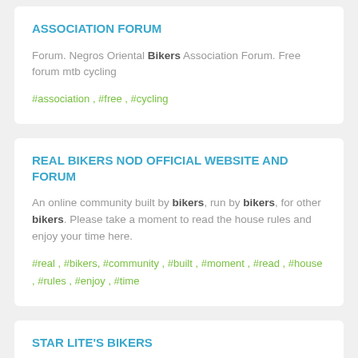ASSOCIATION FORUM
Forum. Negros Oriental Bikers Association Forum. Free forum mtb cycling
#association , #free , #cycling
REAL BIKERS NOD OFFICIAL WEBSITE AND FORUM
An online community built by bikers, run by bikers, for other bikers. Please take a moment to read the house rules and enjoy your time here.
#real , #bikers, #community , #built , #moment , #read , #house , #rules , #enjoy , #time
STAR LITE'S BIKERS
Club de motoras de Caguas.